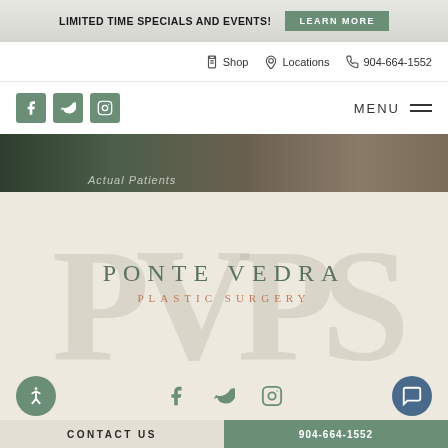LIMITED TIME SPECIALS AND EVENTS! LEARN MORE
Shop  Locations  904-664-1552
MENU
[Figure (screenshot): Hero photo strip showing actual patients in green foliage setting]
Actual Patients
[Figure (logo): Ponte Vedra Plastic Surgery logo with PVPS watermark on beige background]
CONTACT US  904-664-1552